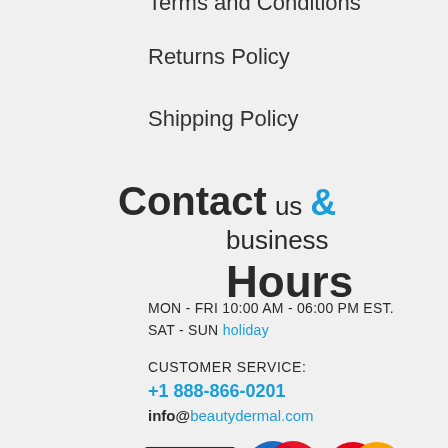Terms and Conditions
Returns Policy
Shipping Policy
Contact us & business Hours
MON - FRI 10:00 AM - 06:00 PM EST.
SAT - SUN holiday
CUSTOMER SERVICE:
+1 888-866-0201
info@beautydermal.com
[Figure (logo): Payment method logos: Visa, Maestro, MasterCard]
Follow &